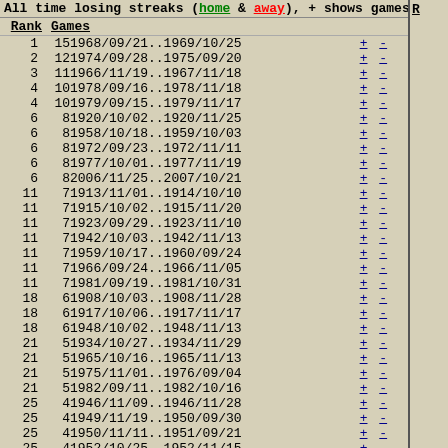All time losing streaks (home & away), + shows games
| Rank | Games | Date Range |
| --- | --- | --- |
| 1 | 15 | 1968/09/21..1969/10/25 |
| 2 | 12 | 1974/09/28..1975/09/20 |
| 3 | 11 | 1966/11/19..1967/11/18 |
| 4 | 10 | 1978/09/16..1978/11/18 |
| 4 | 10 | 1979/09/15..1979/11/17 |
| 6 | 8 | 1920/10/02..1920/11/25 |
| 6 | 8 | 1958/10/18..1959/10/03 |
| 6 | 8 | 1972/09/23..1972/11/11 |
| 6 | 8 | 1977/10/01..1977/11/19 |
| 6 | 8 | 2006/11/25..2007/10/21 |
| 11 | 7 | 1913/11/01..1914/10/10 |
| 11 | 7 | 1915/10/02..1915/11/20 |
| 11 | 7 | 1923/09/29..1923/11/10 |
| 11 | 7 | 1942/10/03..1942/11/13 |
| 11 | 7 | 1959/10/17..1960/09/24 |
| 11 | 7 | 1966/09/24..1966/11/05 |
| 11 | 7 | 1981/09/19..1981/10/31 |
| 18 | 6 | 1908/10/03..1908/11/28 |
| 18 | 6 | 1917/10/06..1917/11/17 |
| 18 | 6 | 1948/10/02..1948/11/13 |
| 21 | 5 | 1934/10/27..1934/11/29 |
| 21 | 5 | 1965/10/16..1965/11/13 |
| 21 | 5 | 1975/11/01..1976/09/04 |
| 21 | 5 | 1982/09/11..1982/10/16 |
| 25 | 4 | 1946/11/09..1946/11/28 |
| 25 | 4 | 1949/11/19..1950/09/30 |
| 25 | 4 | 1950/11/11..1951/09/21 |
| 25 | 4 | 1952/10/25..1952/11/15 |
| 25 | 4 | 1956/10/13..1956/11/03 |